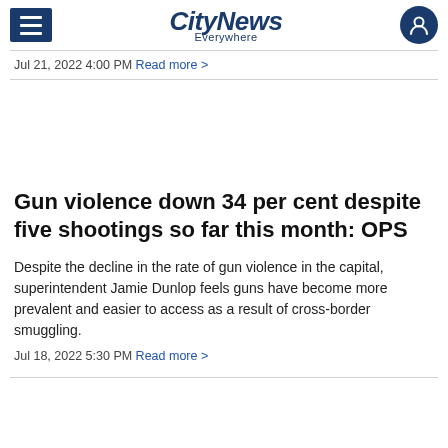CityNews Everywhere
Jul 21, 2022 4:00 PM Read more >
Gun violence down 34 per cent despite five shootings so far this month: OPS
Despite the decline in the rate of gun violence in the capital, superintendent Jamie Dunlop feels guns have become more prevalent and easier to access as a result of cross-border smuggling.
Jul 18, 2022 5:30 PM Read more >